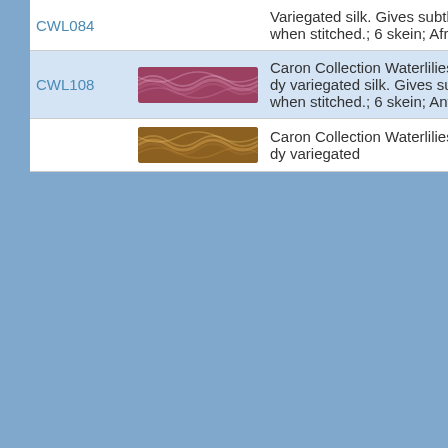| SKU | Image | Description |
| --- | --- | --- |
| CWL084 | [image] | Variegated silk. Gives subtle sheen when stitched.; 6 skein; Africa Sunset |
| CWL108 | [image] | Caron Collection Waterlilies; ply hand dy variegated silk. Gives subtle sheen when stitched.; 6 skein; Antiq Rose |
|  | [image] | Caron Collection Waterlilies; ply hand dy variegated |